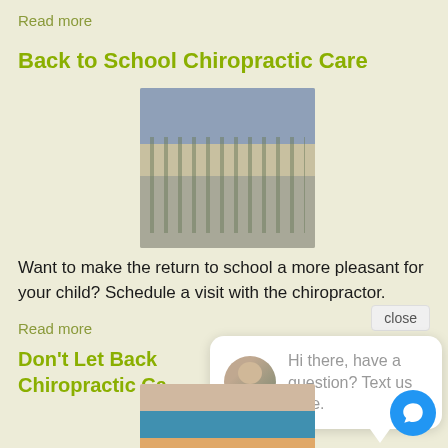Read more
Back to School Chiropractic Care
[Figure (photo): Students walking away from camera toward a school building entrance, wearing backpacks]
Want to make the return to school a more pleasant for your child? Schedule a visit with the chiropractor.
Read more
close
Don't Let Back Chiropractic Ca
[Figure (screenshot): Chat widget popup with avatar of a doctor and text: Hi there, have a question? Text us here.]
[Figure (photo): Person holding their lower back/hip area, wearing a pink top, with a blue background]